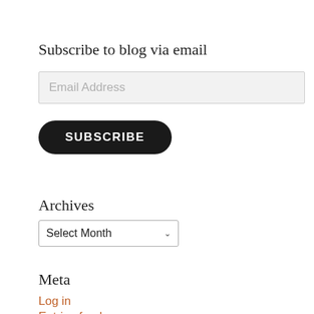Subscribe to blog via email
[Figure (screenshot): Email address input field with placeholder text 'Email Address']
[Figure (screenshot): Black rounded SUBSCRIBE button]
Archives
[Figure (screenshot): Dropdown select field showing 'Select Month' with a dropdown arrow]
Meta
Log in
Entries feed